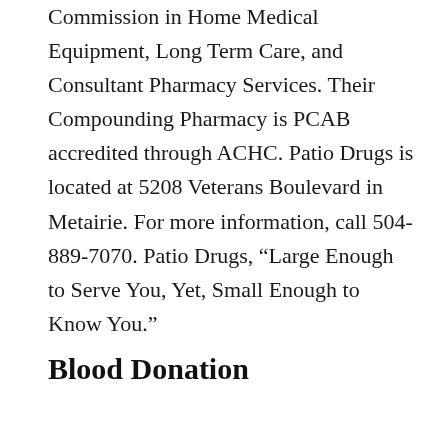Commission in Home Medical Equipment, Long Term Care, and Consultant Pharmacy Services. Their Compounding Pharmacy is PCAB accredited through ACHC. Patio Drugs is located at 5208 Veterans Boulevard in Metairie. For more information, call 504-889-7070. Patio Drugs, “Large Enough to Serve You, Yet, Small Enough to Know You.”
Blood Donation